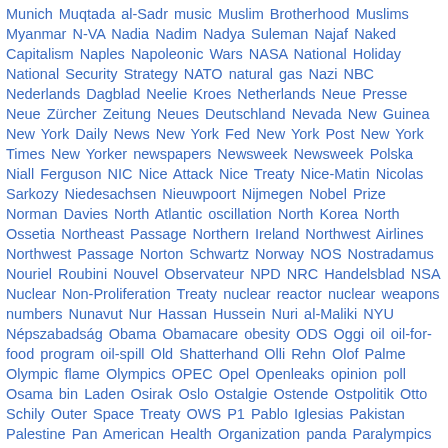Munich Muqtada al-Sadr music Muslim Brotherhood Muslims Myanmar N-VA Nadia Nadim Nadya Suleman Najaf Naked Capitalism Naples Napoleonic Wars NASA National Holiday National Security Strategy NATO natural gas Nazi NBC Nederlands Dagblad Neelie Kroes Netherlands Neue Presse Neue Zürcher Zeitung Neues Deutschland Nevada New Guinea New York Daily News New York Fed New York Post New York Times New Yorker newspapers Newsweek Newsweek Polska Niall Ferguson NIC Nice Attack Nice Treaty Nice-Matin Nicolas Sarkozy Niedesachsen Nieuwpoort Nijmegen Nobel Prize Norman Davies North Atlantic oscillation North Korea North Ossetia Northeast Passage Northern Ireland Northwest Airlines Northwest Passage Norton Schwartz Norway NOS Nostradamus Nouriel Roubini Nouvel Observateur NPD NRC Handelsblad NSA Nuclear Non-Proliferation Treaty nuclear reactor nuclear weapons numbers Nunavut Nur Hassan Hussein Nuri al-Maliki NYU Népszabadság Obama Obamacare obesity ODS Oggi oil oil-for-food program oil-spill Old Shatterhand Olli Rehn Olof Palme Olympic flame Olympics OPEC Opel Openleaks opinion poll Osama bin Laden Osirak Oslo Ostalgie Ostende Ostpolitik Otto Schily Outer Space Treaty OWS P1 Pablo Iglesias Pakistan Palestine Pan American Health Organization panda Paralympics Paris Paris Attacks Paris Hilton Park Gun-Hye parody parrot Partido Popular Partij van de Arbeid partition Patrick Janssens Patriot missiles Paul Begala Paul Krugman Paul Wolfowitz Pavel Telicka Pay-walls peanuts pedophilia Peer Steinbrück penis Pennsylvania people's strike Per Stig Møller persecution Persian Gulf Pervez Musharraf Peter Orszag Peter Ramsauer Peter Struck Philippines Pierre Moscovici Piet Hein Donner Pim Fortuyn pipeline pirate radio pirates Pirelli building PiS Pius XII plastic surgery Playboy Podemos poison poker Poland Poles police Polish Air Force Polish Express Polish sector Politiken Polska Polskie Radio pop culture Pope Benedict XVI Pope Francis Pope John Paul II Porsche Porto Portugal Potsdam Poul Høi Prague Prague Spring